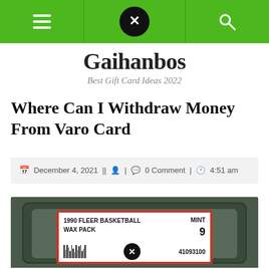Gaihanbos navigation bar with hamburger menu and search icon
Gaihanbos
Best Gift Card Ideas 2022
Where Can I Withdraw Money From Varo Card
December 4, 2021 | | □ | 💬 0 Comment | ⏰ 4:51 am
[Figure (photo): A graded 1990 Fleer Basketball Wax Pack card in a PSA slab showing MINT 9 grade and cert number 41093100]